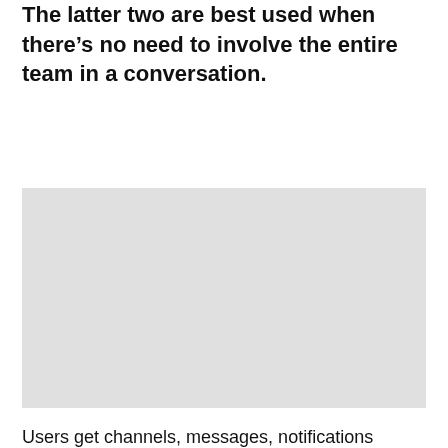The latter two are best used when there's no need to involve the entire team in a conversation.
[Figure (other): A blank light gray rectangular placeholder image]
Users get channels, messages, notifications (including email notifications in digest format), can search through messages, add documents, comment on a project, and drag-n-drop files into a